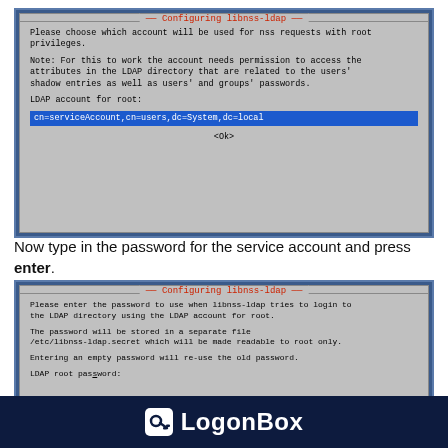[Figure (screenshot): Terminal dialog box titled 'Configuring libnss-ldap' showing text about choosing an account for nss requests with root privileges, LDAP account for root field filled with 'cn=serviceAccount,cn=users,dc=System,dc=local' highlighted in blue, and an Ok button.]
Now type in the password for the service account and press enter.
[Figure (screenshot): Terminal dialog box titled 'Configuring libnss-ldap' showing text about entering the password for libnss-ldap to use when logging into the LDAP directory, noting the password will be stored in /etc/libnss-ldap.secret readable only by root, and that an empty password will re-use the old password. Partially visible LDAP entry password field at bottom.]
[Figure (logo): LogonBox logo: key icon in white rounded square followed by 'LogonBox' text in white on dark navy background.]